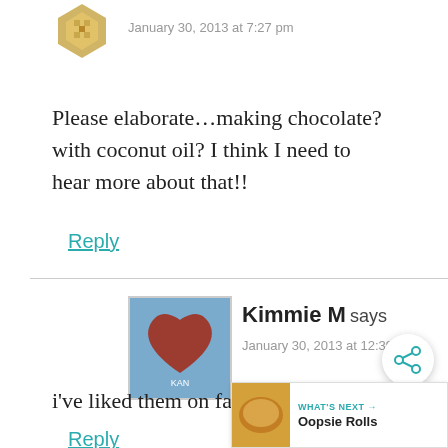[Figure (illustration): Gold/tan geometric avatar icon in upper left area]
January 30, 2013 at 7:27 pm
Please elaborate…making chocolate? with coconut oil? I think I need to hear more about that!!
Reply
[Figure (photo): Square photo avatar of a stylized heart illustration for user Kimmie M]
Kimmie M says
January 30, 2013 at 12:39 pm
i've liked them on facebook!
Reply
[Figure (other): Share icon button (circle with share symbol)]
[Figure (other): What's Next panel showing Oopsie Rolls with thumbnail]